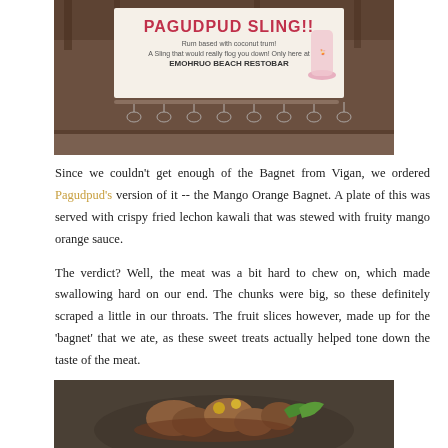[Figure (photo): A banner at a beach restobar reading 'PAGUDPUD SLING!!' with rum and coconut detail, hanging wine glasses visible below, bar interior setting.]
Since we couldn't get enough of the Bagnet from Vigan, we ordered Pagudpud's version of it -- the Mango Orange Bagnet. A plate of this was served with crispy fried lechon kawali that was stewed with fruity mango orange sauce.
The verdict? Well, the meat was a bit hard to chew on, which made swallowing hard on our end. The chunks were big, so these definitely scraped a little in our throats. The fruit slices however, made up for the 'bagnet' that we ate, as these sweet treats actually helped tone down the taste of the meat.
[Figure (photo): Close-up photo of food dish, appears to be meat and vegetables on a plate, partially visible at bottom of page.]